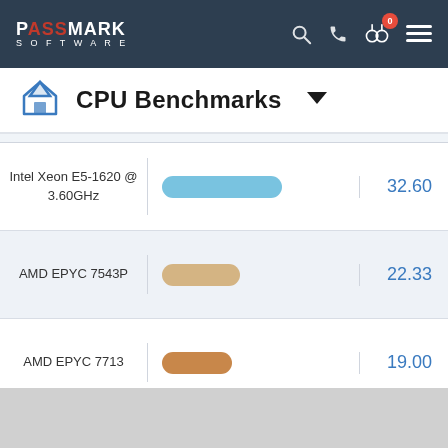PassMark Software — CPU Benchmarks
CPU Benchmarks
| CPU | Bar | Score |
| --- | --- | --- |
| Intel Xeon E5-1620 @ 3.60GHz |  | 32.60 |
| AMD EPYC 7543P |  | 22.33 |
| AMD EPYC 7713 |  | 19.00 |
| AMD EPYC 7763 |  | 15.21 |
| AMD EPYC 7113 |  | NA |